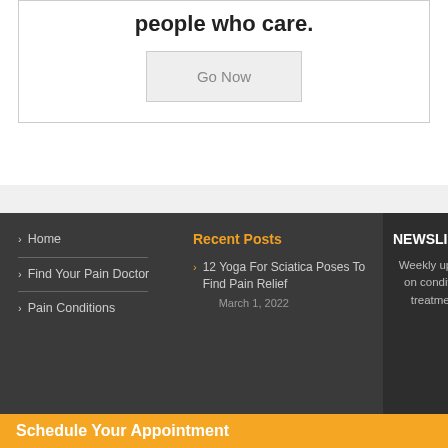people who care.
Go Now
Home
Find Your Pain Doctor
Pain Conditions
Recent Posts
12 Yoga For Sciatica Poses To Find Pain Relief
March 1, 2022
NEWSLI
Weekly updates on conditions, treatments,
Schedule Your Appointment